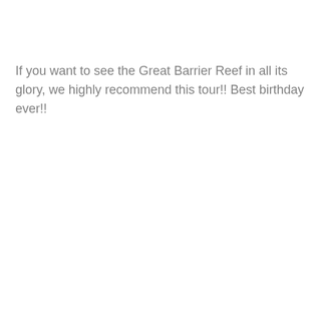If you want to see the Great Barrier Reef in all its glory, we highly recommend this tour!! Best birthday ever!!